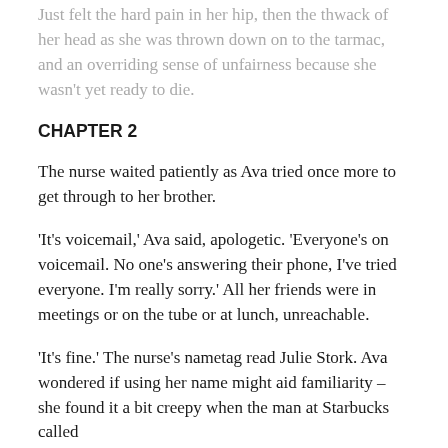Just felt the hard pain in her hip, then the thwack of her head as she was thrown down on to the tarmac, and an overriding sense of unfairness because she wasn't yet ready to die.
CHAPTER 2
The nurse waited patiently as Ava tried once more to get through to her brother.
‘It’s voicemail,’ Ava said, apologetic. ‘Everyone’s on voicemail. No one’s answering their phone, I’ve tried everyone. I’m really sorry.’ All her friends were in meetings or on the tube or at lunch, unreachable.
‘It’s fine.’ The nurse’s nametag read Julie Stork. Ava wondered if using her name might aid familiarity – she found it a bit creepy when the man at Starbucks called